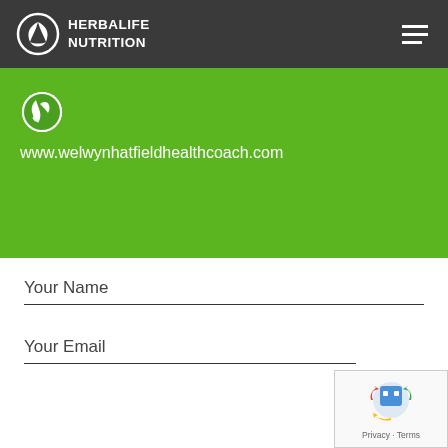[Figure (logo): Herbalife Nutrition logo with leaf/globe icon and text, white on dark grey nav bar]
[Figure (screenshot): Green banner section with globe icon and website URL www.welwynhatfieldhealthcoach.com]
www.welwynhatfieldhealthcoach.com
Your Name
Your Email
[Figure (other): reCAPTCHA widget showing robot icon and Privacy - Terms text]